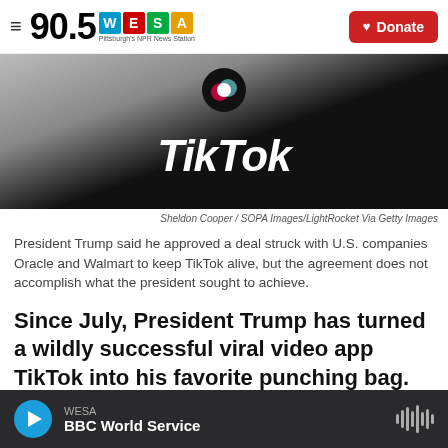90.5 WESA Pittsburgh's NPR News Station | Donate
[Figure (photo): TikTok app logo on a smartphone screen against a dark background, with the TikTok icon visible at the top]
Sheldon Cooper / SOPA Images/LightRocket Via Getty Images
President Trump said he approved a deal struck with U.S. companies Oracle and Walmart to keep TikTok alive, but the agreement does not accomplish what the president sought to achieve.
Since July, President Trump has turned a wildly successful viral video app TikTok into his favorite punching bag.
WESA BBC World Service